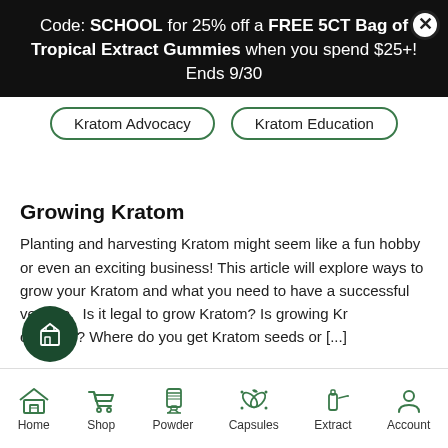Code: SCHOOL for 25% off a FREE 5CT Bag of Tropical Extract Gummies when you spend $25+! Ends 9/30
Kratom Advocacy
Kratom Education
Growing Kratom
Planting and harvesting Kratom might seem like a fun hobby or even an exciting business! This article will explore ways to grow your Kratom and what you need to have a successful venture.  Is it legal to grow Kratom? Is growing Kratom easy? Where do you get Kratom seeds or [...]
Home  Shop  Powder  Capsules  Extract  Account